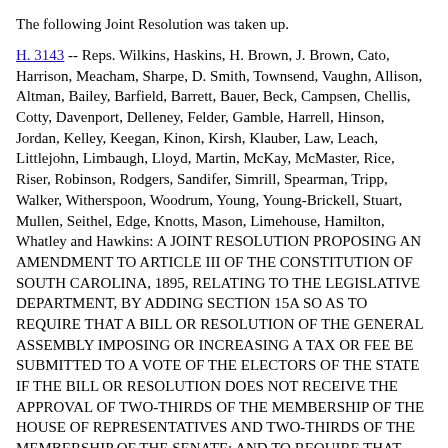The following Joint Resolution was taken up.
H. 3143 -- Reps. Wilkins, Haskins, H. Brown, J. Brown, Cato, Harrison, Meacham, Sharpe, D. Smith, Townsend, Vaughn, Allison, Altman, Bailey, Barfield, Barrett, Bauer, Beck, Campsen, Chellis, Cotty, Davenport, Delleney, Felder, Gamble, Harrell, Hinson, Jordan, Kelley, Keegan, Kinon, Kirsh, Klauber, Law, Leach, Littlejohn, Limbaugh, Lloyd, Martin, McKay, McMaster, Rice, Riser, Robinson, Rodgers, Sandifer, Simrill, Spearman, Tripp, Walker, Witherspoon, Woodrum, Young, Young-Brickell, Stuart, Mullen, Seithel, Edge, Knotts, Mason, Limehouse, Hamilton, Whatley and Hawkins: A JOINT RESOLUTION PROPOSING AN AMENDMENT TO ARTICLE III OF THE CONSTITUTION OF SOUTH CAROLINA, 1895, RELATING TO THE LEGISLATIVE DEPARTMENT, BY ADDING SECTION 15A SO AS TO REQUIRE THAT A BILL OR RESOLUTION OF THE GENERAL ASSEMBLY IMPOSING OR INCREASING A TAX OR FEE BE SUBMITTED TO A VOTE OF THE ELECTORS OF THE STATE IF THE BILL OR RESOLUTION DOES NOT RECEIVE THE APPROVAL OF TWO-THIRDS OF THE MEMBERSHIP OF THE HOUSE OF REPRESENTATIVES AND TWO-THIRDS OF THE MEMBERSHIP OF THE SENATE; AND TO REQUIRE THAT THE GENERAL ASSEMBLY PROVIDE A PROCEDURE BY WHICH ELECTORS SHALL VOTE IF THE BILL OR